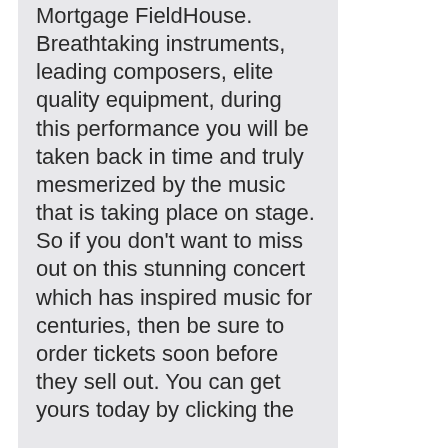Mortgage FieldHouse. Breathtaking instruments, leading composers, elite quality equipment, during this performance you will be taken back in time and truly mesmerized by the music that is taking place on stage. So if you don't want to miss out on this stunning concert which has inspired music for centuries, then be sure to order tickets soon before they sell out. You can get yours today by clicking the